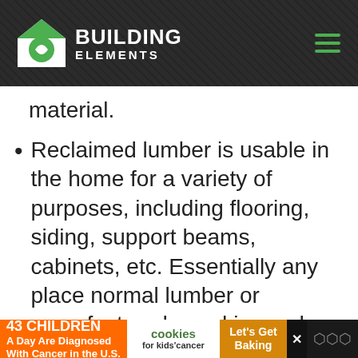Building Elements
material.
Reclaimed lumber is usable in the home for a variety of purposes, including flooring, siding, support beams, cabinets, etc. Essentially any place normal lumber or manufactured wood is used, reclaimed and recycled wood can take its place.
43 CHILDREN A Day Are Diagnosed With Cancer in the U.S. cookies for kids' cancer Let's Get Baking